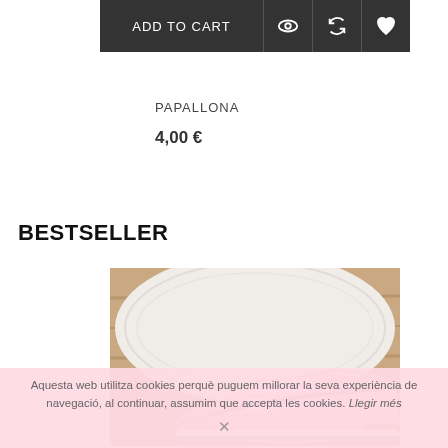[Figure (screenshot): Add to Cart dark button bar with eye, refresh, and heart icons]
PAPALLONA
4,00 €
BESTSELLER
[Figure (photo): Pink Converse-style sneaker on white fluffy rug with wood background]
Aquesta web utilitza cookies perquè puguem millorar la seva experiència de navegació, al continuar, assumim que accepta les cookies. Llegir més ✕